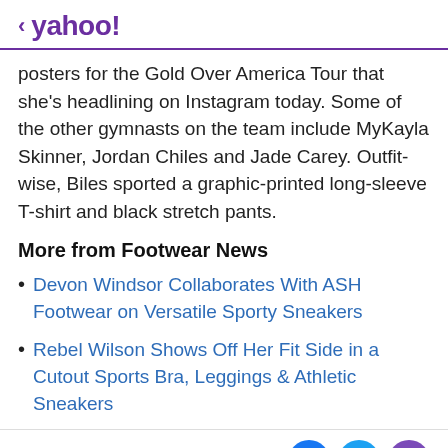< yahoo!
posters for the Gold Over America Tour that she's headlining on Instagram today. Some of the other gymnasts on the team include MyKayla Skinner, Jordan Chiles and Jade Carey. Outfit-wise, Biles sported a graphic-printed long-sleeve T-shirt and black stretch pants.
More from Footwear News
Devon Windsor Collaborates With ASH Footwear on Versatile Sporty Sneakers
Rebel Wilson Shows Off Her Fit Side in a Cutout Sports Bra, Leggings & Athletic Sneakers
View comments